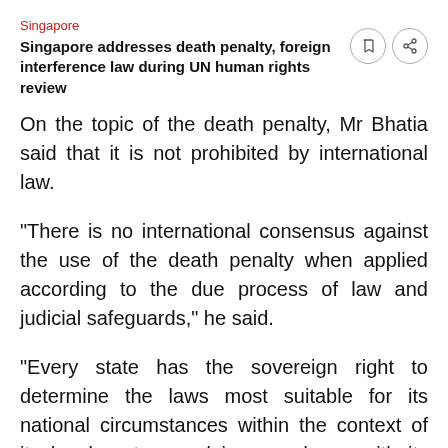Singapore
Singapore addresses death penalty, foreign interference law during UN human rights review
On the topic of the death penalty, Mr Bhatia said that it is not prohibited by international law.
"There is no international consensus against the use of the death penalty when applied according to the due process of law and judicial safeguards," he said.
"Every state has the sovereign right to determine the laws most suitable for its national circumstances within the context of its legal system and in accordance with its international obligations."
He added that in Singapore, the death penalty is reserved "only for the most serious crimes," such